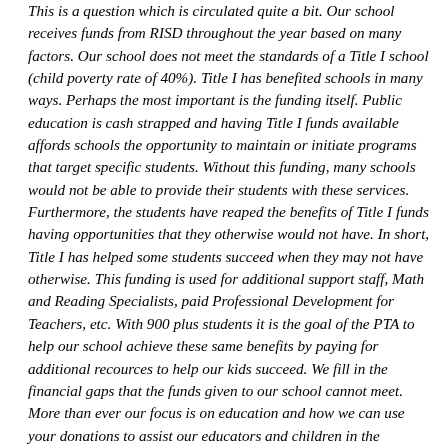This is a question which is circulated quite a bit.  Our school receives funds from RISD throughout the year based on many factors.  Our school does not meet the standards of a Title I school (child poverty rate of 40%).  Title I has benefited schools in many ways. Perhaps the most important is the funding itself. Public education is cash strapped and having Title I funds available affords schools the opportunity to maintain or initiate programs that target specific students. Without this funding, many schools would not be able to provide their students with these services. Furthermore, the students have reaped the benefits of Title I funds having opportunities that they otherwise would not have. In short, Title I has helped some students succeed when they may not have otherwise.  This funding is used for additional support staff, Math and Reading Specialists, paid Professional Development for Teachers, etc.  With 900 plus students it is the goal of the PTA to help our school achieve these same benefits by paying for additional recources to help our kids succeed.  We fill in the financial gaps that the funds given to our school cannot meet.  More than ever our focus is on education and how we can use your donations to assist our educators and children in the classroom to reach their best